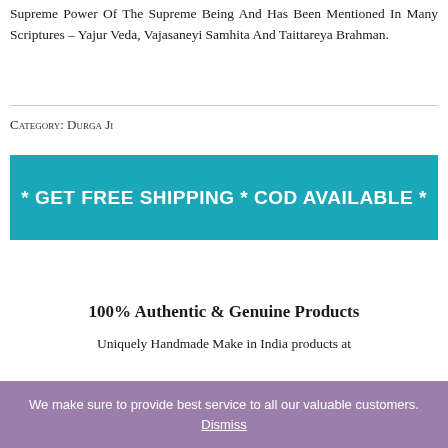Supreme Power Of The Supreme Being And Has Been Mentioned In Many Scriptures – Yajur Veda, Vajasaneyi Samhita And Taittareya Brahman.
Category: Durga Ji
[Figure (infographic): Teal/cyan banner with white bold text: * GET FREE SHIPPING * COD AVAILABLE *]
100% Authentic & Genuine Products
Uniquely Handmade Make in India products at
We make sure to provide best service to all our valuable customers. Dismiss